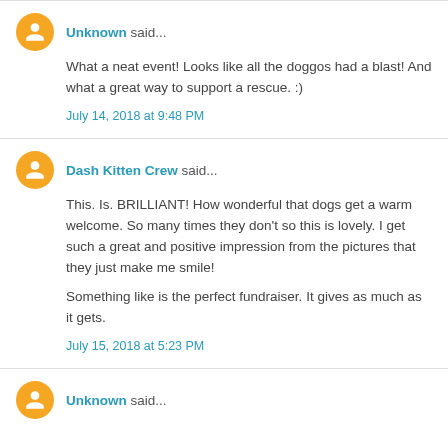Unknown said...
What a neat event! Looks like all the doggos had a blast! And what a great way to support a rescue. :)
July 14, 2018 at 9:48 PM
Dash Kitten Crew said...
This. Is. BRILLIANT! How wonderful that dogs get a warm welcome. So many times they don't so this is lovely. I get such a great and positive impression from the pictures that they just make me smile!

Something like is the perfect fundraiser. It gives as much as it gets.
July 15, 2018 at 5:23 PM
Unknown said...